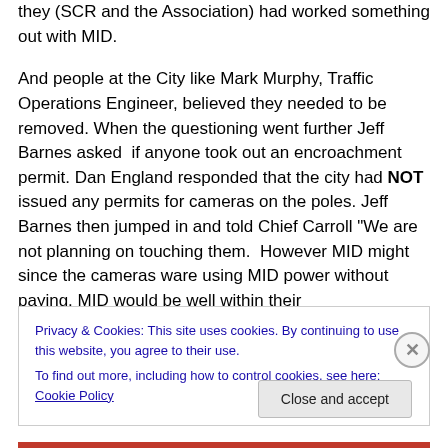they (SCR and the Association) had worked something out with MID.

And people at the City like Mark Murphy, Traffic Operations Engineer, believed they needed to be removed. When the questioning went further Jeff Barnes asked if anyone took out an encroachment permit. Dan England responded that the city had NOT issued any permits for cameras on the poles. Jeff Barnes then jumped in and told Chief Carroll "We are not planning on touching them. However MID might since the cameras ware using MID power without paying. MID would be well within their
Privacy & Cookies: This site uses cookies. By continuing to use this website, you agree to their use.
To find out more, including how to control cookies, see here: Cookie Policy